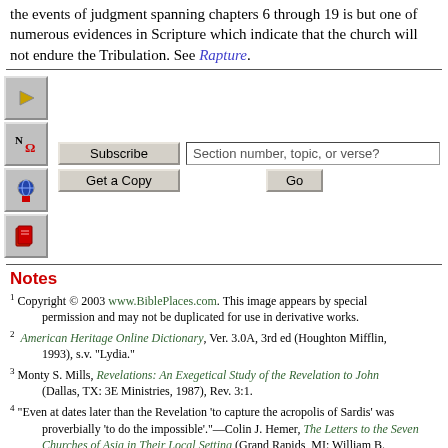the events of judgment spanning chapters 6 through 19 is but one of numerous evidences in Scripture which indicate that the church will not endure the Tribulation. See Rapture.
[Figure (screenshot): Navigation bar with icons (audio, Greek letters, globe/animation, book) on left, Subscribe and Get a Copy buttons with a text input field 'Section number, topic, or verse?' and a Go button in the center, and navigation arrows (back, up, move, forward) on the right.]
Notes
1 Copyright © 2003 www.BiblePlaces.com. This image appears by special permission and may not be duplicated for use in derivative works.
2 American Heritage Online Dictionary, Ver. 3.0A, 3rd ed (Houghton Mifflin, 1993), s.v. "Lydia."
3 Monty S. Mills, Revelations: An Exegetical Study of the Revelation to John (Dallas, TX: 3E Ministries, 1987), Rev. 3:1.
4 "Even at dates later than the Revelation 'to capture the acropolis of Sardis' was proverbially 'to do the impossible'."—Colin J. Hemer, The Letters to the Seven Churches of Asia in Their Local Setting (Grand Rapids, MI: William B. Eerdmans Publishing Company, 1989), 133.
5 Ibid.
6 Mills, Revelations: An Exegetical Study of the Revelation to John, Rev. 3:1.
7 Robert H. Mounce, The Book of Revelation (Grand Rapids, MI: William B. Eerdmans Publishing Co., 1977), 109.